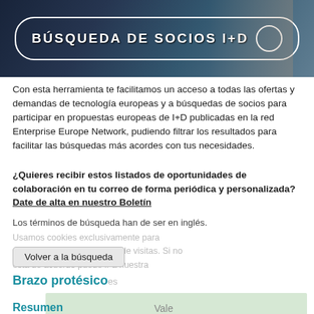[Figure (photo): Banner image showing a hand pointing at a rounded rectangle button label reading BÚSQUEDA DE SOCIOS I+D on a dark blue background with a circle element.]
Con esta herramienta te facilitamos un acceso a todas las ofertas y demandas de tecnología europeas y a búsquedas de socios para participar en propuestas europeas de I+D publicadas en la red Enterprise Europe Network, pudiendo filtrar los resultados para facilitar las búsquedas más acordes con tus necesidades.
¿Quieres recibir estos listados de oportunidades de colaboración en tu correo de forma periódica y personalizada? Date de alta en nuestro Boletín
Los términos de búsqueda han de ser en inglés.
Usamos cookies exclusivamente para recopilar datos estadísticos de visitas. Si no está de acuerdo puede ir a nuestra
Volver a la búsqueda
Brazo protésico
Resumen
Vale
Tipo:
Oferta Tecnológica